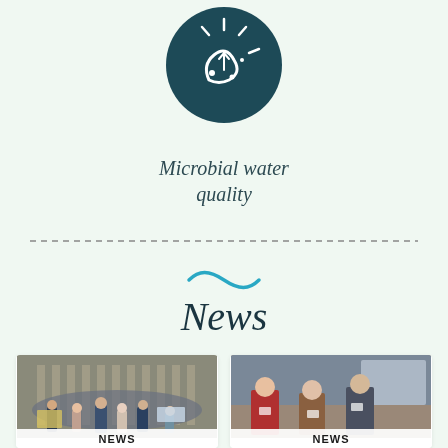[Figure (illustration): Dark teal circular icon with white microbial/bacteria imagery including a worm-like figure, dots, and spiky protrusions on a light green background]
Microbial water quality
[Figure (other): Horizontal dashed line separator]
[Figure (other): Teal/cyan tilde (~) decorative wave symbol]
News
[Figure (photo): Group photo of many people on steps of a building with columns, wearing masks, several people in front holding signs/awards. 'NEWS' label at the bottom.]
[Figure (photo): Photo of three people (two women and one man) standing indoors at an event. 'NEWS' label at the bottom.]